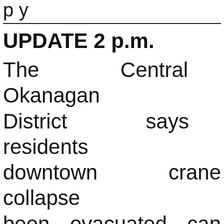p y
UPDATE 2 p.m.
The Central Okanagan District says residents downtown crane collapse been evacuated can go Salvation Army at 1480 Avenue for Emergency Services